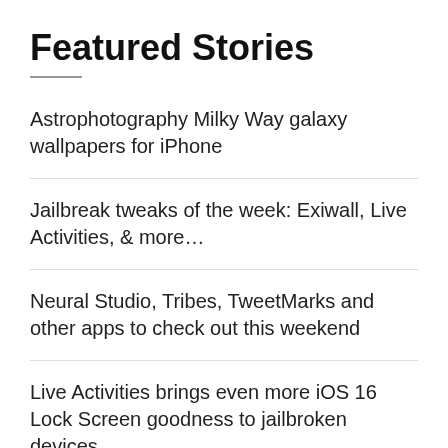Featured Stories
Astrophotography Milky Way galaxy wallpapers for iPhone
Jailbreak tweaks of the week: Exiwall, Live Activities, & more…
Neural Studio, Tribes, TweetMarks and other apps to check out this weekend
Live Activities brings even more iOS 16 Lock Screen goodness to jailbroken devices
CoolStar says that the Cheyote jailbreak for iOS 15.0-15.1.1 is still more than 4 weeks out